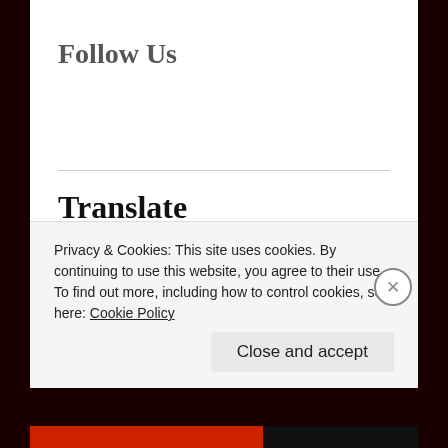Follow Us
Translate DaveTalksSports To Any Language
Select Language
Powered by Google Translate
Privacy & Cookies: This site uses cookies. By continuing to use this website, you agree to their use.
To find out more, including how to control cookies, see here: Cookie Policy
Close and accept